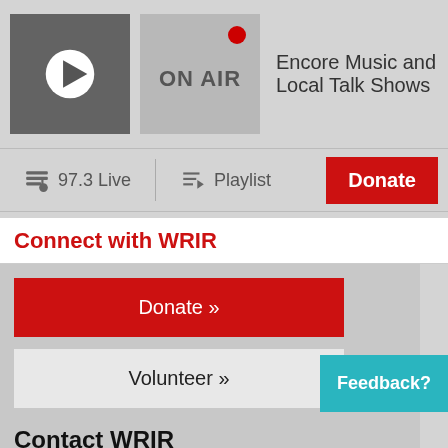[Figure (screenshot): Play button icon in dark gray square]
[Figure (screenshot): ON AIR box with red dot indicator]
Encore Music and Local Talk Shows
97.3 Live
Playlist
Donate
Connect with WRIR
Donate »
Volunteer »
Contact WRIR
804.649.9737
info@wrir.org
Stay Informed
First name:
Email:
Feedback?